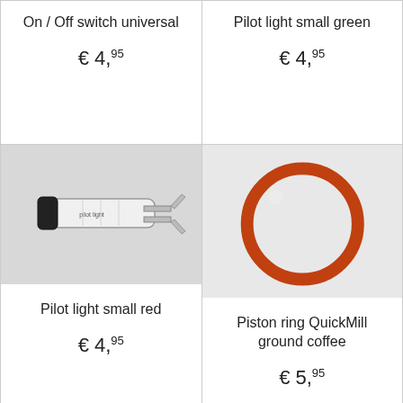On / Off switch universal
€ 4,95
Pilot light small green
€ 4,95
[Figure (photo): Photo of a pilot light component - small cylindrical device with metal clips, white body]
Pilot light small red
€ 4,95
[Figure (photo): Photo of a red piston ring (O-ring) on white background]
Piston ring QuickMill ground coffee
€ 5,95